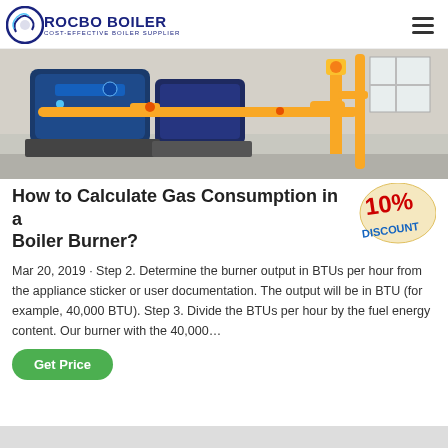ROCBO BOILER — COST-EFFECTIVE BOILER SUPPLIER
[Figure (photo): Industrial boiler room showing blue boilers with yellow gas pipes and fittings in a concrete facility]
How to Calculate Gas Consumption in a Boiler Burner?
[Figure (other): 10% DISCOUNT badge/sticker in red and gold]
Mar 20, 2019 · Step 2. Determine the burner output in BTUs per hour from the appliance sticker or user documentation. The output will be in BTU (for example, 40,000 BTU). Step 3. Divide the BTUs per hour by the fuel energy content. Our burner with the 40,000…
Get Price